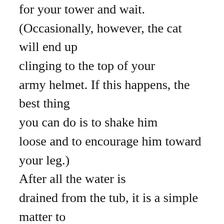for your tower and wait. (Occasionally, however, the cat will end up clinging to the top of your army helmet. If this happens, the best thing you can do is to shake him loose and to encourage him toward your leg.) After all the water is drained from the tub, it is a simple matter to just reach down and dry the cat.
In a few days the cat will relax enough to be removed from your leg. He will usually have nothing to say for about three weeks and will spend a lot of time sitting with his back to you. He might even become